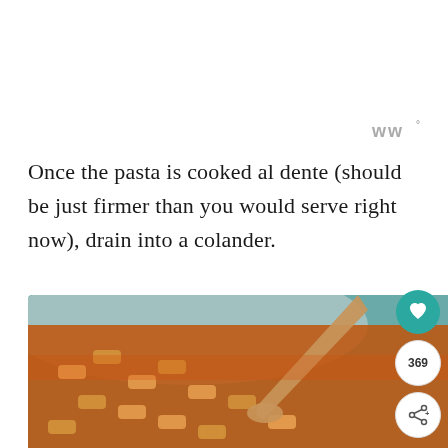[Figure (logo): WW (Weight Watchers) logo with degree symbol, displayed in gray]
Once the pasta is cooked al dente (should be just firmer than you would serve right now), drain into a colander.
[Figure (photo): Close-up photo of rigatoni pasta in tomato sauce in a bowl with a wooden spoon]